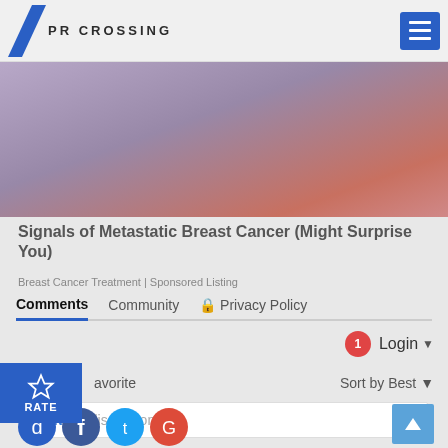PR CROSSING
[Figure (photo): Close-up of a hand touching or holding clothing near the chest area, with painted nails, purple/pink tones]
Signals of Metastatic Breast Cancer (Might Surprise You)
Breast Cancer Treatment | Sponsored Listing
Comments   Community   🔒 Privacy Policy
1  Login
☆ avorite   Sort by Best
Start the discussion…
LOG IN WITH